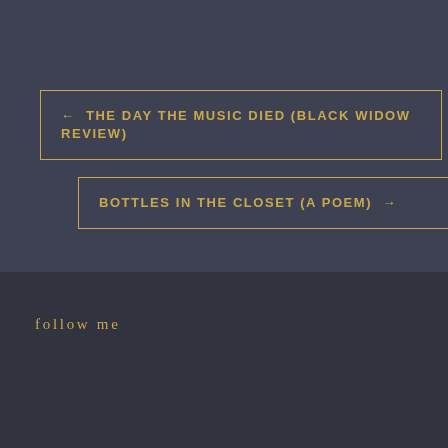← THE DAY THE MUSIC DIED (BLACK WIDOW REVIEW)
BOTTLES IN THE CLOSET (A POEM) →
FOLLOW ME